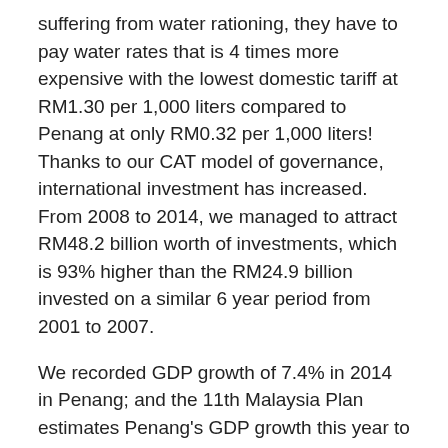suffering from water rationing, they have to pay water rates that is 4 times more expensive with the lowest domestic tariff at RM1.30 per 1,000 liters compared to Penang at only RM0.32 per 1,000 liters! Thanks to our CAT model of governance, international investment has increased. From 2008 to 2014, we managed to attract RM48.2 billion worth of investments, which is 93% higher than the RM24.9 billion invested on a similar 6 year period from 2001 to 2007.
We recorded GDP growth of 7.4% in 2014 in Penang; and the 11th Malaysia Plan estimates Penang's GDP growth this year to be equally robust at 6.2%. We also have full employment with Penang recording the historic low 1.2% unemployment rate last year. Or a shortage of 20,000 workers. Such good employment market is translated to households in Penang enjoying household income growth of 7.6% annually between 2012 and 2014.